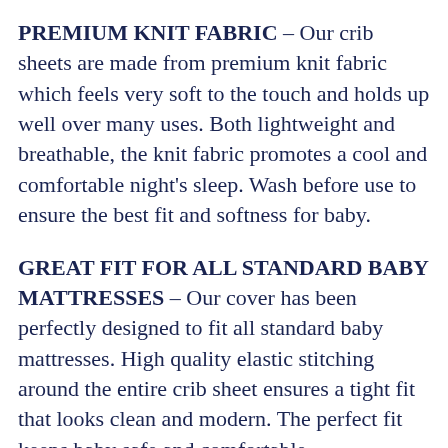PREMIUM KNIT FABRIC – Our crib sheets are made from premium knit fabric which feels very soft to the touch and holds up well over many uses. Both lightweight and breathable, the knit fabric promotes a cool and comfortable night's sleep. Wash before use to ensure the best fit and softness for baby.
GREAT FIT FOR ALL STANDARD BABY MATTRESSES – Our cover has been perfectly designed to fit all standard baby mattresses. High quality elastic stitching around the entire crib sheet ensures a tight fit that looks clean and modern. The perfect fit keeps baby safe and comfortable.